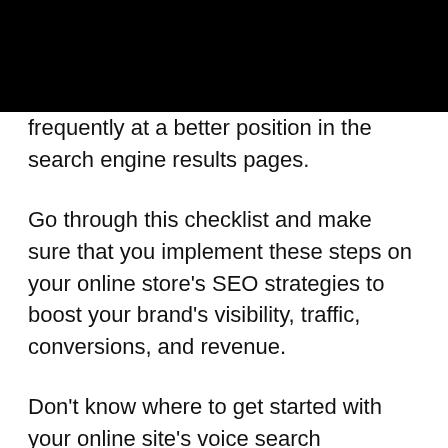frequently at a better position in the search engine results pages.
Go through this checklist and make sure that you implement these steps on your online store's SEO strategies to boost your brand's visibility, traffic, conversions, and revenue.
Don't know where to get started with your online site's voice search optimization? Check us out at Voice SEO for all your voice